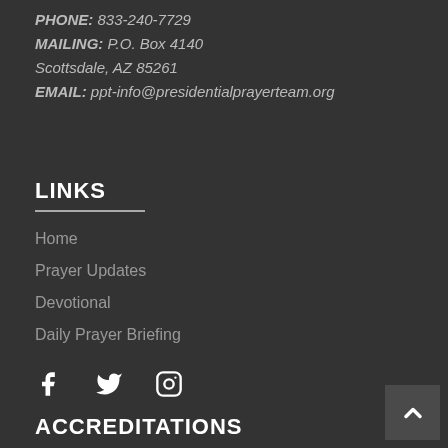PHONE: 833-240-7729
MAILING: P.O. Box 4140
Scottsdale, AZ 85261
EMAIL: ppt-info@presidentialprayerteam.org
LINKS
Home
Prayer Updates
Devotional
Daily Prayer Briefing
[Figure (illustration): Social media icons: Facebook (f), Twitter (bird), Instagram (camera)]
ACCREDITATIONS